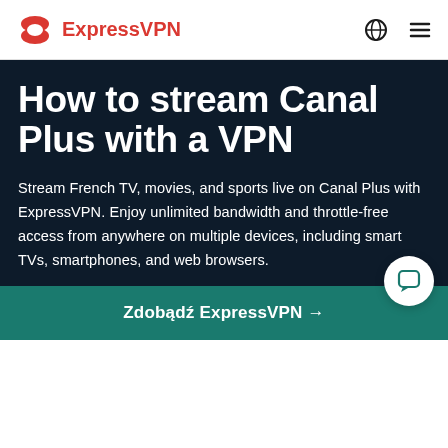ExpressVPN
How to stream Canal Plus with a VPN
Stream French TV, movies, and sports live on Canal Plus with ExpressVPN. Enjoy unlimited bandwidth and throttle-free access from anywhere on multiple devices, including smart TVs, smartphones, and web browsers.
Zdobądź ExpressVPN →